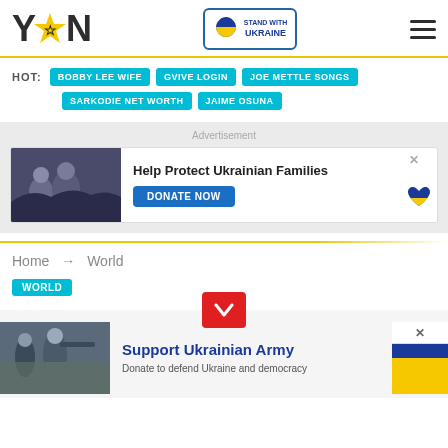YEN - Stand with Ukraine
HOT: BOBBY LEE WIFE | GVIVE LOGIN | JOE METTLE SONGS | SARKODIE NET WORTH | JAIME OSUNA
[Figure (screenshot): Advertisement banner: Help Protect Ukrainian Families - DONATE NOW with Ukrainian flag heart]
Home → World
WORLD
[Figure (screenshot): Support Ukrainian Army - Donate to defend Ukraine and democracy banner with soldiers image and Ukrainian flag colors]